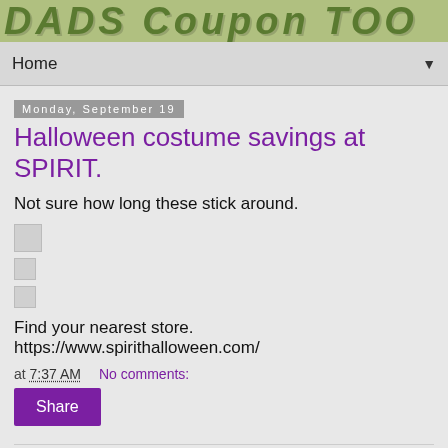DADS Coupon TOO
Home ▼
Monday, September 19
Halloween costume savings at SPIRIT.
Not sure how long these stick around.
[Figure (other): Three small image placeholders (gray boxes)]
Find your nearest store. https://www.spirithalloween.com/
at 7:37 AM   No comments:
Share
Saturday, September 17
Free REV with this one. $0.50 off one